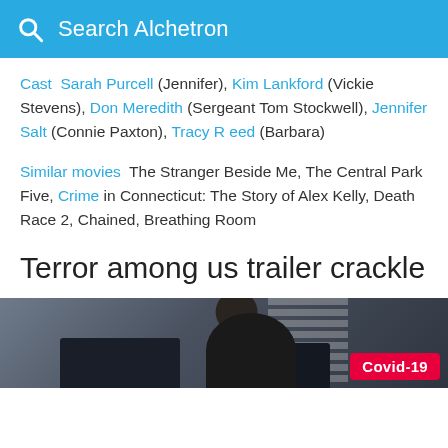Search Alchetron
Cast  Sarah Purcell (Jennifer), Kim Lankford (Vickie Stevens), Don Meredith (Sergeant Tom Stockwell), Jennifer Salt (Connie Paxton), Tracy Reed (Barbara)
Similar movies  The Stranger Beside Me, The Central Park Five, Crime in Connecticut: The Story of Alex Kelly, Death Race 2, Chained, Breathing Room
Terror among us trailer crackle
[Figure (photo): Dark screenshot of a person from behind sitting at what appears to be a workstation, with blinds visible in background. Covid-19 badge overlaid in bottom right corner.]